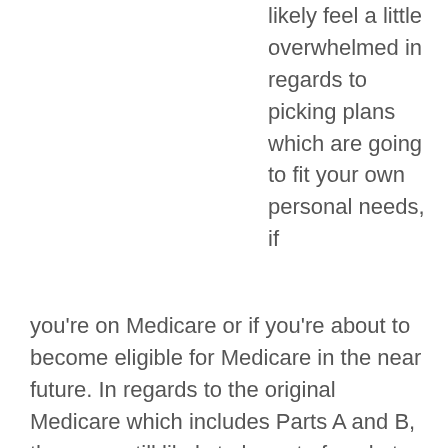likely feel a little overwhelmed in regards to picking plans which are going to fit your own personal needs, if you're on Medicare or if you're about to become eligible for Medicare in the near future. In regards to the original Medicare which includes Parts A and B, there are still likely to be out of pocket expenses that you may not want to have to pay for. This is where the supplemental plans come into play. In this essay we are going to be giving you an overview of three of the different supplement plans that are available